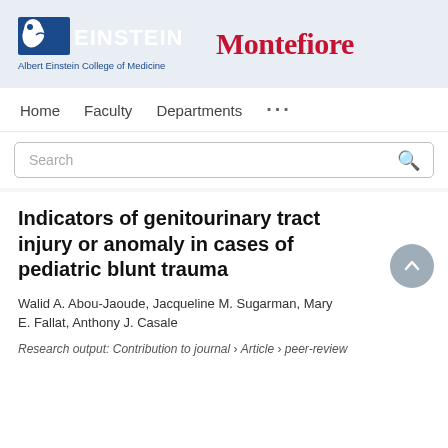[Figure (logo): Einstein - Albert Einstein College of Medicine logo and Montefiore logo in header bar]
Home   Faculty   Departments   ...
Search
Indicators of genitourinary tract injury or anomaly in cases of pediatric blunt trauma
Walid A. Abou-Jaoude, Jacqueline M. Sugarman, Mary E. Fallat, Anthony J. Casale
Research output: Contribution to journal › Article › peer-review